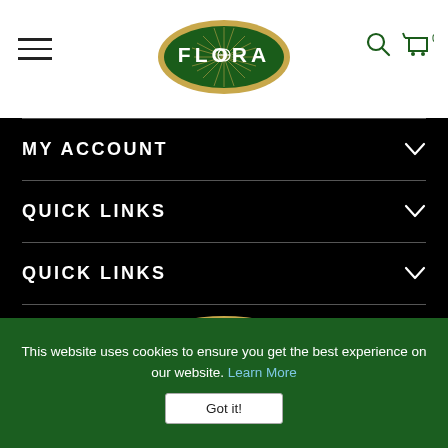[Figure (logo): Flora brand logo in header - green oval with gold border, FLORA text in white, sunburst rays]
MY ACCOUNT
QUICK LINKS
QUICK LINKS
[Figure (logo): Flora brand logo in footer nav area - green oval with gold border, FLORA text in white, sunburst rays, larger version]
This website uses cookies to ensure you get the best experience on our website. Learn More
Got it!